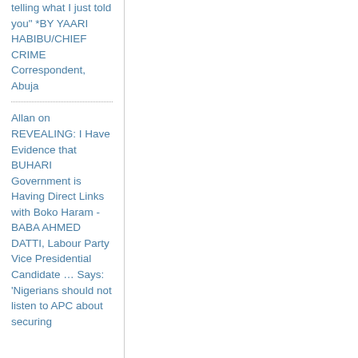telling what I just told you" *BY YAARI HABIBU/CHIEF CRIME Correspondent, Abuja
Allan on REVEALING: I Have Evidence that BUHARI Government is Having Direct Links with Boko Haram - BABA AHMED DATTI, Labour Party Vice Presidential Candidate … Says: 'Nigerians should not listen to APC about securing